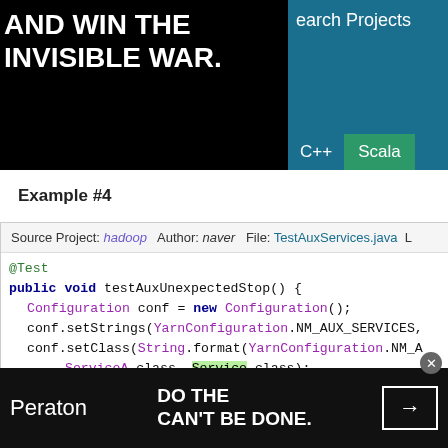[Figure (screenshot): Top advertisement banner (black background) with white bold text: 'AND WIN THE INVISIBLE WAR.' and a teal panel on the right showing 'Search Projects' with C++ and Scala language tabs]
Example #4
Source Project: hadoop   Author: naver   File: TestAuxServices.java
@Test
public void testAuxUnexpectedStop() {
    Configuration conf = new Configuration();
    conf.setStrings(YarnConfiguration.NM_AUX_SERVICES,
    conf.setClass(String.format(YarnConfiguration.NM_A
        ServiceA.class,  Service.class);
    conf.setClass(String.format(YarnConfiguration.NM_A
        ServiceB.class,  Service.class);
    final AuxServices aux = new AuxServices();
[Figure (screenshot): Bottom advertisement banner (dark background) with Peraton logo on left, tagline 'DO THE CAN'T BE DONE.' in center, and arrow button on right. Close button (x) in upper right.]